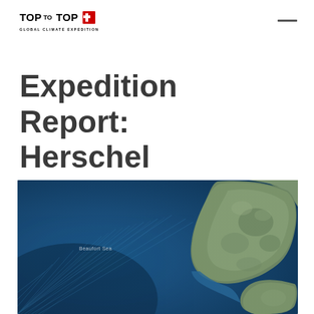TOP to TOP GLOBAL CLIMATE EXPEDITION
Expedition Report: Herschel
[Figure (map): Satellite/aerial map view showing Herschel Island and surrounding Beaufort Sea waters, with blue ocean on the left side and the island's landmass visible on the right side of the image. Small text label reads 'Beaufort Sea'.]